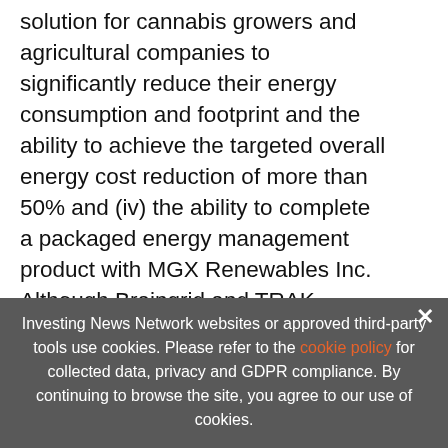solution for cannabis growers and agricultural companies to significantly reduce their energy consumption and footprint and the ability to achieve the targeted overall energy cost reduction of more than 50% and (iv) the ability to complete a packaged energy management product with MGX Renewables Inc. Although Braingrid and TRAK believe that any forward-looking information and statements herein are reasonable, in light of th
use [faded] ...d
unce [faded]
[Figure (infographic): Advertisement banner: EXCLUSIVE 2022 CANNABIS OUTLOOK REPORT. TRENDS. FORECASTS. TOP STOCKS with a book icon and orange arrow button, orange vertical bar on right.]
Investing News Network websites or approved third-party tools use cookies. Please refer to the cookie policy for collected data, privacy and GDPR compliance. By continuing to browse the site, you agree to our use of cookies.